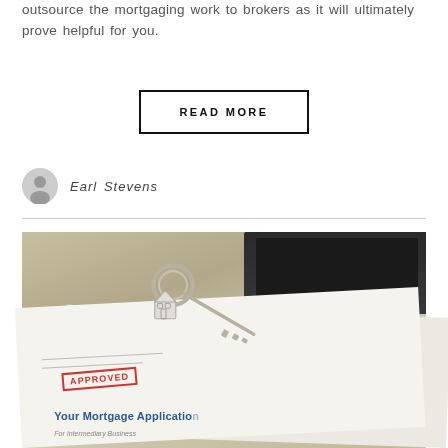outsource the mortgaging work to brokers as it will ultimately prove helpful for you.
READ MORE
Earl Stevens
[Figure (photo): Photo of a house-shaped key fob and key resting on a mortgage application document stamped APPROVED, with text reading 'Your Mortgage Application For Intermediary Business', and a calculator in the background on a wooden surface.]